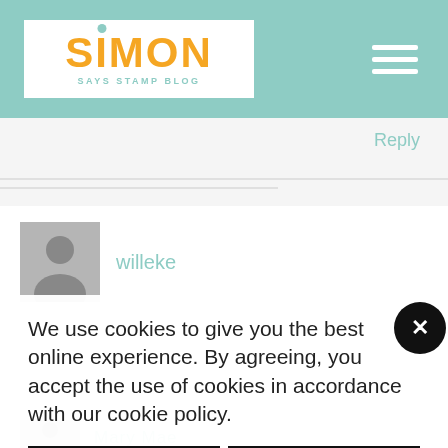SIMON SAYS STAMP BLOG
Reply
willeke
We use cookies to give you the best online experience. By agreeing, you accept the use of cookies in accordance with our cookie policy.
DECLINE
I ACCEPT
Privacy Policy  Cookie Policy
Mary Mae